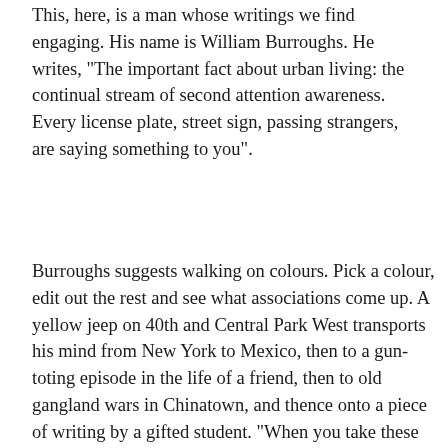This, here, is a man whose writings we find engaging. His name is William Burroughs. He writes, "The important fact about urban living: the continual stream of second attention awareness. Every license plate, street sign, passing strangers, are saying something to you".
Burroughs suggests walking on colours. Pick a colour, edit out the rest and see what associations come up. A yellow jeep on 40th and Central Park West transports his mind from New York to Mexico, then to a gun-toting episode in the life of a friend, then to old gangland wars in Chinatown, and thence onto a piece of writing by a gifted student. "When you take these walks you are literally travelling in time association lines". You are reorganising space. [/quote]